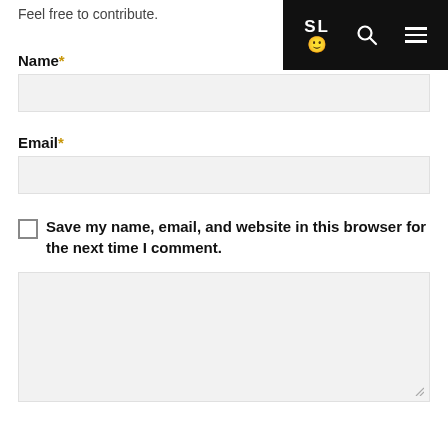Feel free to contribute.
SL navigation bar with logo, search, and menu
Name*
Email*
Save my name, email, and website in this browser for the next time I comment.
[Figure (screenshot): Large comment textarea input field with resize handle at bottom right]